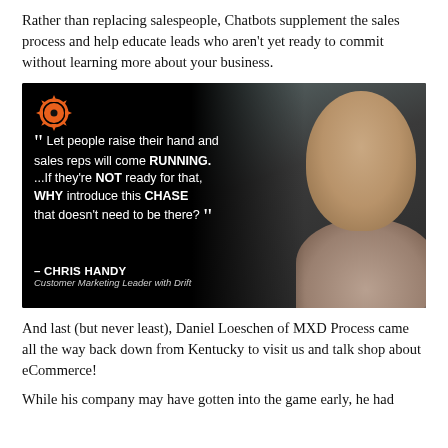Rather than replacing salespeople, Chatbots supplement the sales process and help educate leads who aren't yet ready to commit without learning more about your business.
[Figure (photo): Quote card with dark background and photo of Chris Handy. Orange circular saw logo top-left. Quote text: " Let people raise their hand and sales reps will come RUNNING. ...If they're NOT ready for that, WHY introduce this CHASE that doesn't need to be there? " - CHRIS HANDY, Customer Marketing Leader with Drift]
And last (but never least), Daniel Loeschen of MXD Process came all the way back down from Kentucky to visit us and talk shop about eCommerce!
While his company may have gotten into the game early, he had